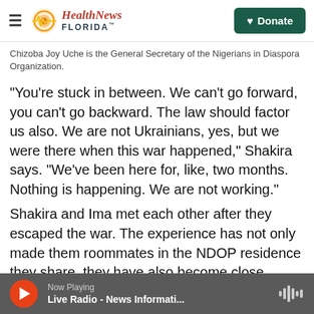Health News Florida [logo] Donate
Chizoba Joy Uche is the General Secretary of the Nigerians in Diaspora Organization.
"You're stuck in between. We can't go forward, you can't go backward. The law should factor us also. We are not Ukrainians, yes, but we were there when this war happened," Shakira says. "We've been here for, like, two months. Nothing is happening. We are not working."
Shakira and Ima met each other after they escaped the war. The experience has not only made them roommates in the NDOP residence they share, they have also become close.
Now Playing Live Radio - News Informati...